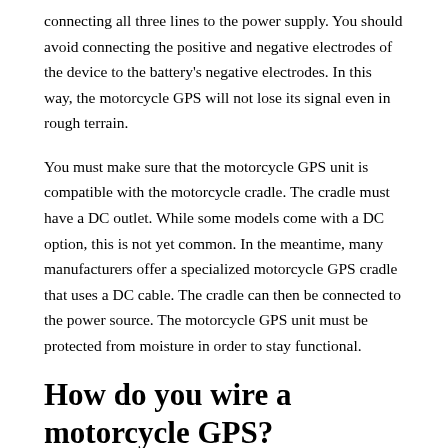connecting all three lines to the power supply. You should avoid connecting the positive and negative electrodes of the device to the battery's negative electrodes. In this way, the motorcycle GPS will not lose its signal even in rough terrain.
You must make sure that the motorcycle GPS unit is compatible with the motorcycle cradle. The cradle must have a DC outlet. While some models come with a DC option, this is not yet common. In the meantime, many manufacturers offer a specialized motorcycle GPS cradle that uses a DC cable. The cradle can then be connected to the power source. The motorcycle GPS unit must be protected from moisture in order to stay functional.
How do you wire a motorcycle GPS?